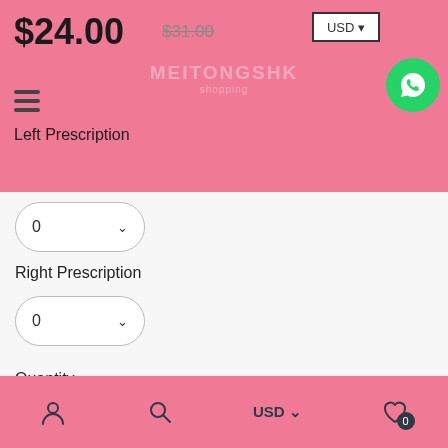$24.00  $31.00  MEITONGSHR shopping  USD  Left Prescription
Right Prescription
0
Quantity
1
Add to cart
Buy It Now
Description  Shipping & Returns  Wear &
USD  0